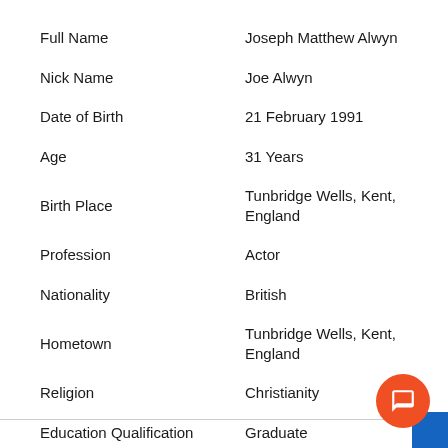| Field | Value |
| --- | --- |
| Full Name | Joseph Matthew Alwyn |
| Nick Name | Joe Alwyn |
| Date of Birth | 21 February 1991 |
| Age | 31 Years |
| Birth Place | Tunbridge Wells, Kent, England |
| Profession | Actor |
| Nationality | British |
| Hometown | Tunbridge Wells, Kent, England |
| Religion | Christianity |
| Education Qualification | Graduate |